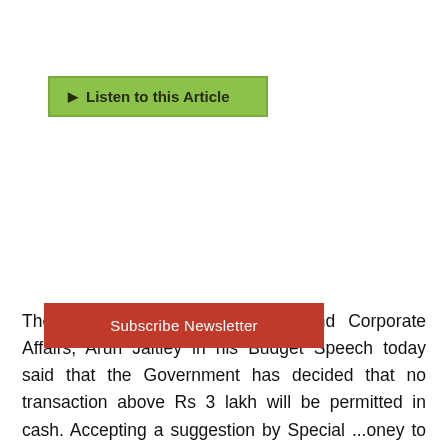[Figure (other): Green 'Listen to this Article' button with a small play/audio icon]
The Union Minister for Finance and Corporate Affairs, Arun Jaitley in his Budget Speech today said that the Government has decided that no transaction above Rs 3 lakh will be permitted in cash. Accepting a suggestion by Special ...oney to ban cash transactions ...ce Minister has proposed an
[Figure (other): Red 'Subscribe Newsletter' button overlay]